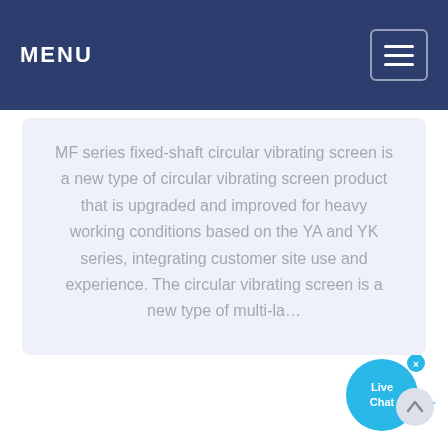MENU
MF series fixed-shaft circular vibrating screen is a new type of circular vibrating screen product that is upgraded and improved for heavy working conditions based on the YA and YK series, integrating customer site use and experience. The circular vibrating screen is a new type of multi-la…
[Figure (other): Live Chat widget bubble with blue circular icon and tail arrow, showing 'Live Chat' text, with a close X button in the top right corner]
[Figure (other): Scroll to top button — circular grey button with upward arrow chevron]